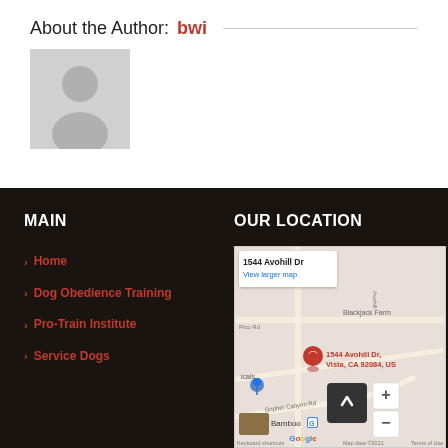About the Author: bwi
[Figure (illustration): Gray avatar placeholder image with a person silhouette icon]
MAIN
> Home
> Dog Obedience Training
> Pro-Train Institute
> Service Dogs
OUR LOCATION
[Figure (map): Google Map showing 1544 Avohill Dr, Vista, CA 92084, US with a red pin marker. Callout reads '1544 Avohill Dr / View larger map'. Map data ©2021. Shows Blackjack Farm area, Gopher Canyon Rd, and nearby businesses.]